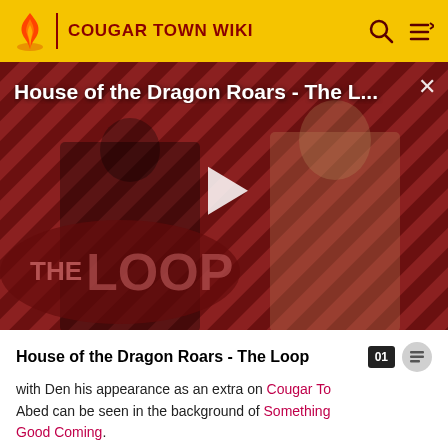COUGAR TOWN WIKI
[Figure (screenshot): Video thumbnail for 'House of the Dragon Roars - The L...' showing two characters on a striped red/black background with a play button overlay and THE LOOP logo]
House of the Dragon Roars - The Loop
with Den his appearance as an extra on Cougar to Abed can be seen in the background of Something Good Coming.
In the episode For A Few Paintballs More, Busy